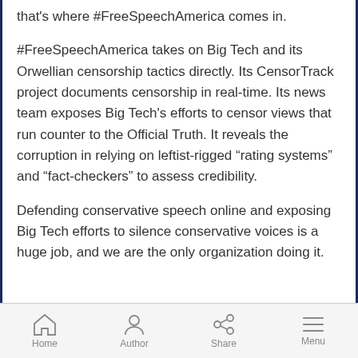that's where #FreeSpeechAmerica comes in.
#FreeSpeechAmerica takes on Big Tech and its Orwellian censorship tactics directly. Its CensorTrack project documents censorship in real-time. Its news team exposes Big Tech's efforts to censor views that run counter to the Official Truth. It reveals the corruption in relying on leftist-rigged “rating systems” and “fact-checkers” to assess credibility.
Defending conservative speech online and exposing Big Tech efforts to silence conservative voices is a huge job, and we are the only organization doing it.
Home | Author | Share | Menu